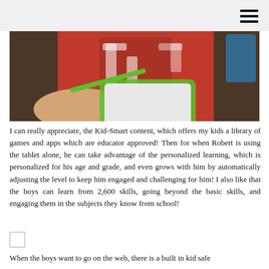[Figure (photo): Photo of a child in a red jersey number 14 using a green-bordered tablet, with an adult hand holding a stylus on the tablet screen]
I can really appreciate, the Kid-Smart content, which offers my kids a library of games and apps which are educator approved! Then for when Robert is using the tablet alone, he can take advantage of the personalized learning, which is personalized for his age and grade, and even grows with him by automatically adjusting the level to keep him engaged and challenging for him! I also like that the boys can learn from 2,600 skills, going beyond the basic skills, and engaging them in the subjects they know from school!
When the boys want to go on the web, there is a built in kid safe